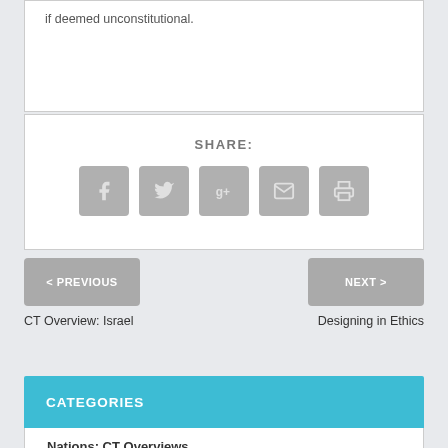if deemed unconstitutional.
SHARE:
[Figure (other): Social share buttons: Facebook, Twitter, Google+, Email, Print]
< PREVIOUS
NEXT >
CT Overview: Israel
Designing in Ethics
CATEGORIES
Nations: CT Overviews